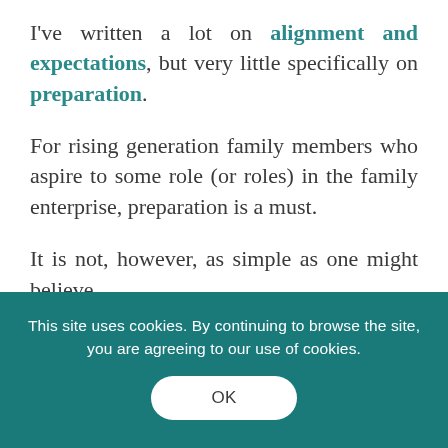I've written a lot on alignment and expectations, but very little specifically on preparation.
For rising generation family members who aspire to some role (or roles) in the family enterprise, preparation is a must.
It is not, however, as simple as one might believe.
In decades past, “go get an MBA” was a
This site uses cookies. By continuing to browse the site, you are agreeing to our use of cookies.